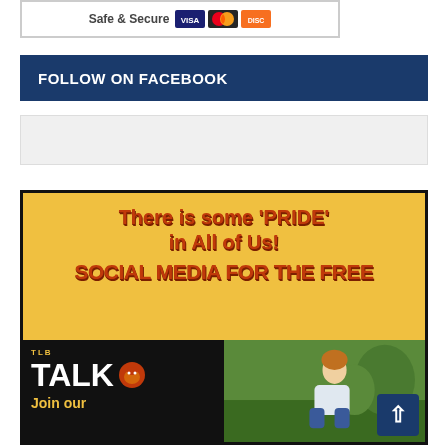[Figure (other): Safe & Secure payment banner with Visa, MasterCard, and Discover card logos]
FOLLOW ON FACEBOOK
[Figure (other): Facebook widget/embed placeholder box]
[Figure (infographic): Yellow promotional image reading 'There is some PRIDE in All of Us! SOCIAL MEDIA FOR THE FREE' with TLB TALK logo and lion icon, and 'Join our' text at bottom with person crouching in background]